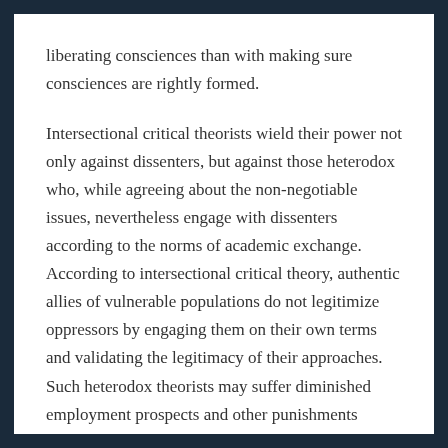liberating consciences than with making sure consciences are rightly formed.
Intersectional critical theorists wield their power not only against dissenters, but against those heterodox who, while agreeing about the non-negotiable issues, nevertheless engage with dissenters according to the norms of academic exchange. According to intersectional critical theory, authentic allies of vulnerable populations do not legitimize oppressors by engaging them on their own terms and validating the legitimacy of their approaches. Such heterodox theorists may suffer diminished employment prospects and other punishments simply for engaging with the heretics.
On-the-ground viewpoint diversity exists in some intersectional circles. But, alarmingly, very little diversity is